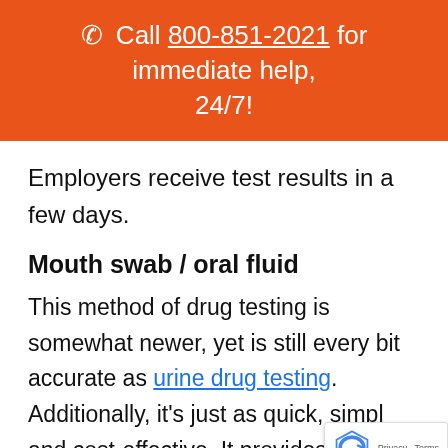☎ Call 800-851-2021 for immediate help, 24/7!
Employers receive test results in a few days.
Mouth swab / oral fluid
This method of drug testing is somewhat newer, yet is still every bit accurate as urine drug testing. Additionally, it's just as quick, simpl and cost-effective. It provides the